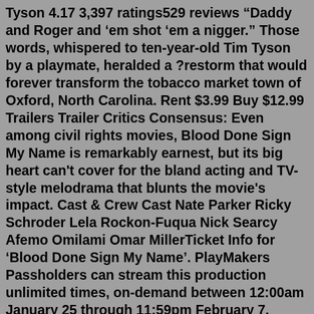Tyson 4.17 3,397 ratings529 reviews “Daddy and Roger and ‘em shot ‘em a nigger.” Those words, whispered to ten-year-old Tim Tyson by a playmate, heralded a ?restorm that would forever transform the tobacco market town of Oxford, North Carolina. Rent $3.99 Buy $12.99 Trailers Trailer Critics Consensus: Even among civil rights movies, Blood Done Sign My Name is remarkably earnest, but its big heart can't cover for the bland acting and TV-style melodrama that blunts the movie's impact. Cast & Crew Cast Nate Parker Ricky Schroder Lela Rockon-Fuqua Nick Searcy Afemo Omilami Omar MillerTicket Info for ‘Blood Done Sign My Name’. PlayMakers Passholders can stream this production unlimited times, on-demand between 12:00am January 25 through 11:59pm February 7. Presale ticket buyers can stream unlimited times, on-demand for the first week, January 25 through January 31. Single ticket buyers who purchase on or after January 25 ... May 21, 2004 · Blood Done Sign My Name. When he was a thi...